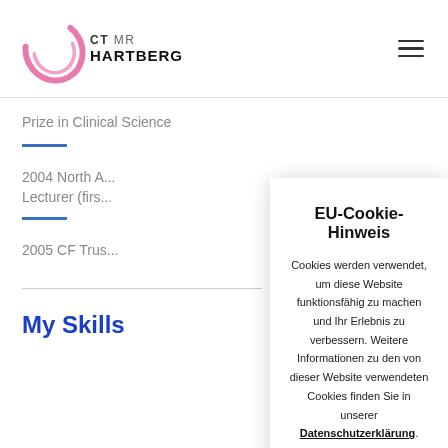CT MR HARTBERG
Prize in Clinical Science
2004 North A... Lecturer (firs...
2005 CF Trus...
My Skills
EU-Cookie-Hinweis
Cookies werden verwendet, um diese Website funktionsfähig zu machen und Ihr Erlebnis zu verbessern. Weitere Informationen zu den von dieser Website verwendeten Cookies finden Sie in unserer Datenschutzerklärung.
Ich stimme zu